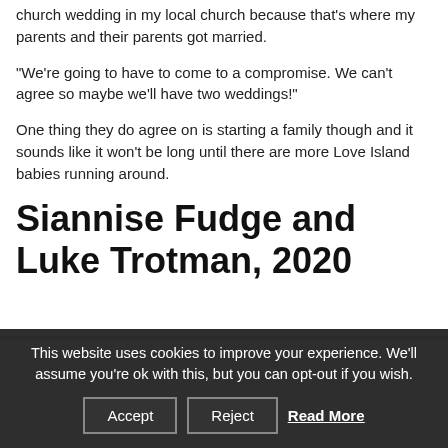church wedding in my local church because that's where my parents and their parents got married.
“We’re going to have to come to a compromise. We can’t agree so maybe we’ll have two weddings!”
One thing they do agree on is starting a family though and it sounds like it won’t be long until there are more Love Island babies running around.
Siannise Fudge and Luke Trotman, 2020
This website uses cookies to improve your experience. We’ll assume you’re ok with this, but you can opt-out if you wish.
Accept | Reject | Read More